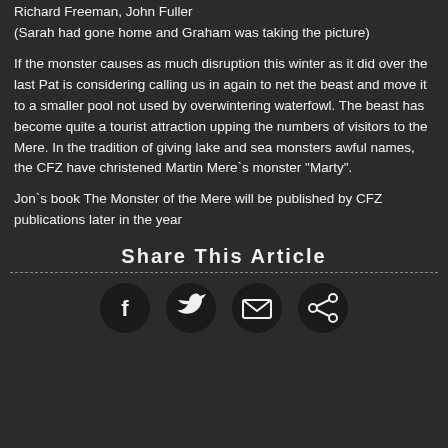Richard Freeman, John Fuller
(Sarah had gone home and Graham was taking the picture)
If the monster causes as much disruption this winter as it did over the last Pat is considering calling us in again to net the beast and move it to a smaller pool not used by overwintering waterfowl. The beast has become quite a tourist attraction upping the numbers of visitors to the Mere. In the tradition of giving lake and sea monsters awful names, the CFZ have christened Martin Mere's monster "Marty".
Jon's book The Monster of the Mere will be published by CFZ publications later in the year
Share This Article
[Figure (infographic): Social media sharing icons (Facebook, Twitter, Email, Share) as dark circular buttons]